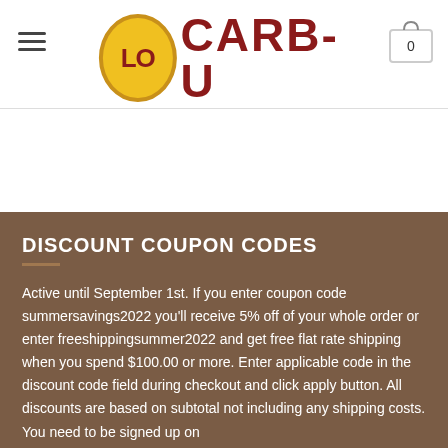LO CARB-U
ADD TO CART
DISCOUNT COUPON CODES
Active until September 1st. If you enter coupon code summersavings2022 you'll receive 5% off of your whole order or enter freeshippingsummer2022 and get free flat rate shipping when you spend $100.00 or more. Enter applicable code in the discount code field during checkout and click apply button. All discounts are based on subtotal not including any shipping costs. You need to be signed up on